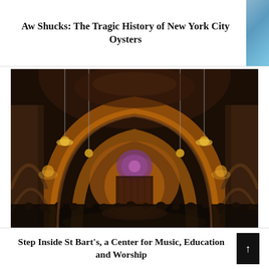Aw Shucks: The Tragic History of New York City Oysters
[Figure (photo): Interior of St Bart's church with warm golden lighting, arched ceilings, ornate architecture, and a crowd gathered for a concert or event. The nave features Romanesque arches, chandeliers, and a decorated apse.]
Step Inside St Bart's, a Center for Music, Education and Worship